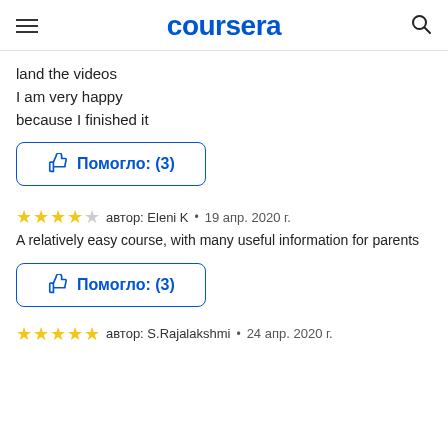coursera
land the videos
I am very happy
because I finished it
Помогло: (3)
автор: Eleni K • 19 апр. 2020 г.
A relatively easy course, with many useful information for parents
Помогло: (3)
автор: S.Rajalakshmi • 24 апр. 2020 г.